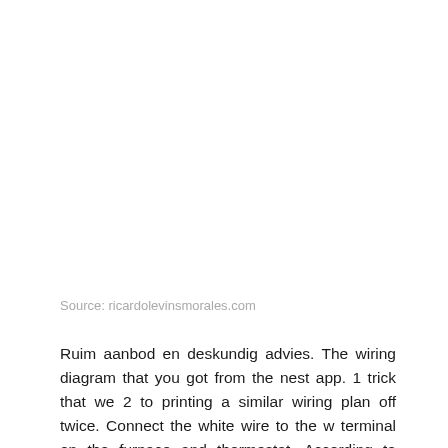Source: ricardolevinsmorales.com
Ruim aanbod en deskundig advies. The wiring diagram that you got from the nest app. 1 trick that we 2 to printing a similar wiring plan off twice. Connect the white wire to the w terminal on the furnace and thermostat. According to earlier the lines in a 2 wire thermostat wiring diagram heat only represents the